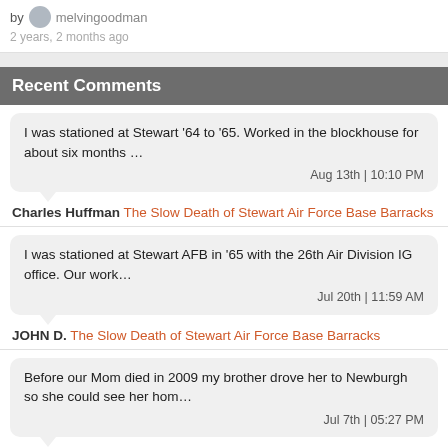by melvingoodman
2 years, 2 months ago
Recent Comments
I was stationed at Stewart '64 to '65. Worked in the blockhouse for about six months …
Aug 13th | 10:10 PM
Charles Huffman The Slow Death of Stewart Air Force Base Barracks
I was stationed at Stewart AFB in '65 with the 26th Air Division IG office. Our work…
Jul 20th | 11:59 AM
JOHN D. The Slow Death of Stewart Air Force Base Barracks
Before our Mom died in 2009 my brother drove her to Newburgh so she could see her hom…
Jul 7th | 05:27 PM
Stephen Webb Lost Newburgh: The Tragedy of Urban Renewal, Part 2